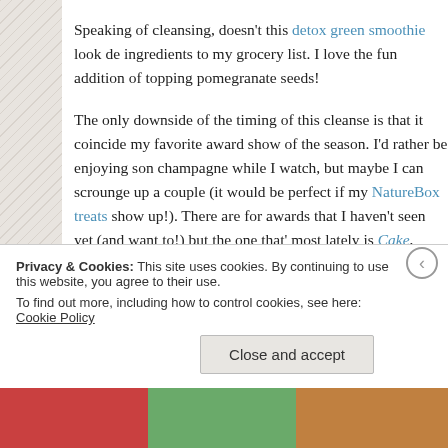Speaking of cleansing, doesn't this detox green smoothie look de... ingredients to my grocery list. I love the fun addition of topping... pomegranate seeds!
The only downside of the timing of this cleanse is that it coincide... my favorite award show of the season. I'd rather be enjoying som... champagne while I watch, but maybe I can scrounge up a couple... (it would be perfect if my NatureBox treats show up!). There are... for awards that I haven't seen yet (and want to!) but the one that'... most lately is Cake, starring Jennifer Aniston. It looks like such a... her, something so different from her rom-com past. I like that the... Golden Globes site paints a picture of how deeply contrasting he...
Privacy & Cookies: This site uses cookies. By continuing to use this website, you agree to their use. To find out more, including how to control cookies, see here: Cookie Policy
Close and accept